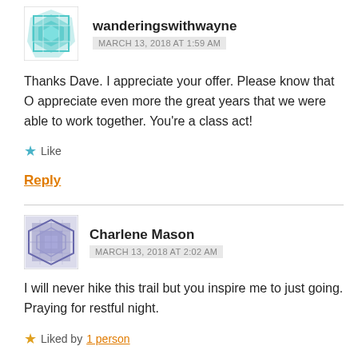[Figure (illustration): Teal geometric avatar for wanderingswithwayne]
wanderingswithwayne
MARCH 13, 2018 AT 1:59 AM
Thanks Dave. I appreciate your offer. Please know that O appreciate even more the great years that we were able to work together. You're a class act!
★ Like
Reply
[Figure (illustration): Blue/grey geometric avatar for Charlene Mason]
Charlene Mason
MARCH 13, 2018 AT 2:02 AM
I will never hike this trail but you inspire me to just going. Praying for restful night.
★ Liked by 1 person